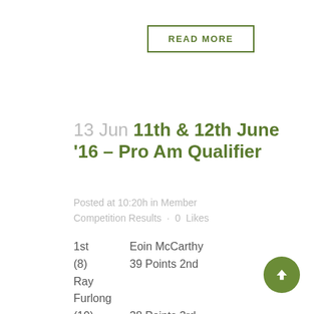[Figure (other): READ MORE button with green border]
13 Jun 11th & 12th June '16 – Pro Am Qualifier
Posted at 10:20h in Member Competition Results · 0 Likes
1st   Eoin McCarthy
(8)   39 Points 2nd
Ray Furlong
(10)   38 Points 3rd
Mick Healy
(4)   37 Points...